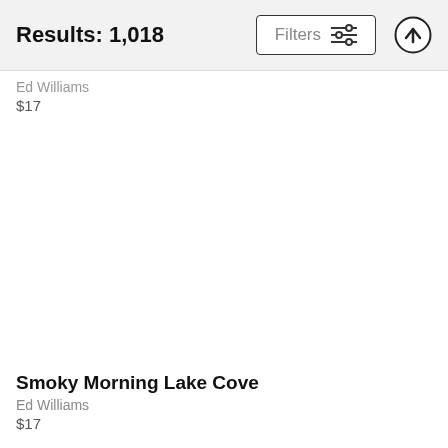Results: 1,018
Ed Williams
$17
Smoky Morning Lake Cove
Ed Williams
$17